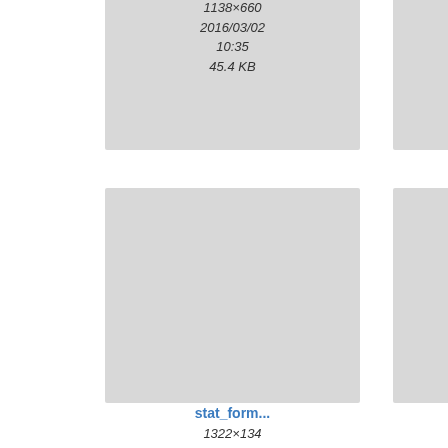[Figure (screenshot): File thumbnail grid showing image files with metadata. Row 1 (partial): two image thumbnails with dimensions, dates, and sizes. Row 2: two thumbnails labeled stat_form... with dimensions 1322x134 and 1024x138, both dated 2014/11/14 22:32, sizes 92.3 KB and 93.2 KB. Row 3 (partial): two thumbnails labeled stat_rasp... (1316x880) and stat_setti... (1090x486).]